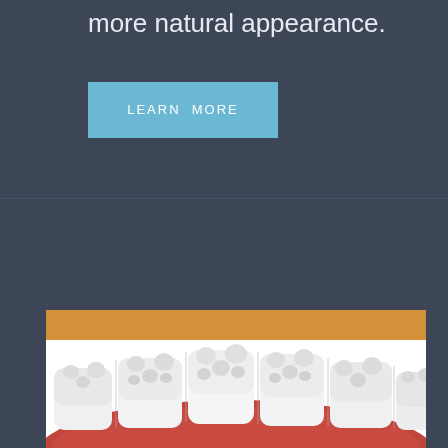more natural appearance.
LEARN MORE
[Figure (photo): 3D render of white dental crowns/teeth on red gum tissue, viewed from above at an angle, showing a row of molar crowns with natural white color]